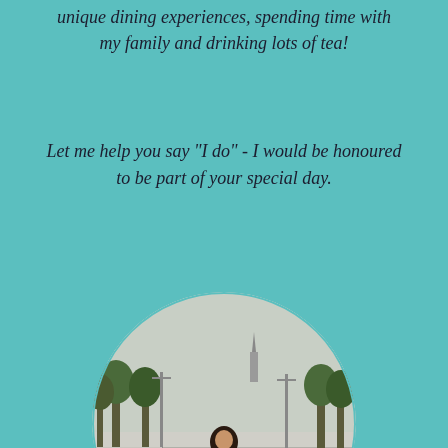unique dining experiences, spending time with my family and drinking lots of tea!
Let me help you say "I do" - I would be honoured to be part of your special day.
[Figure (photo): A woman wearing a black outfit and colorful scarf/hijab standing on a road with trees and utility poles in the background, displayed in a circular frame]